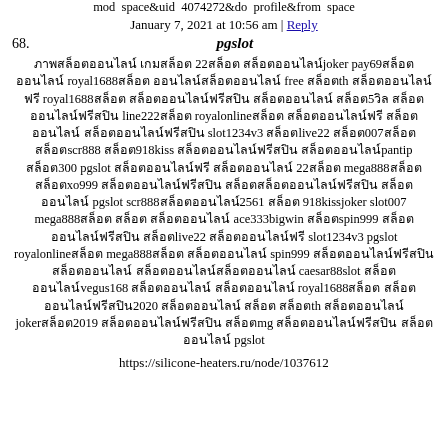mod  space&uid  4074272&do  profile&from  space
January 7, 2021 at 10:56 am | Reply
68.   pgslot
ภาพสล็อตออนไลน์ เกมสล็อต 22สล็อต สล็อตออนไลน์joker pay69สล็อตออนไลน์ royal1688สล็อต ออนไลน์สล็อตออนไลน์ free สล็อตth สล็อตออนไลน์ฟรี royal1688สล็อต สล็อตออนไลน์ฟรีสปิน สล็อตออนไลน์ สล็อต5วิล สล็อตออนไลน์ฟรีสปิน line222สล็อต royalonlineสล็อต สล็อตออนไลน์ฟรี สล็อตออนไลน์ สล็อตออนไลน์ฟรีสปิน slot1234v3 สล็อตlive22 สล็อต007สล็อต สล็อตscr888 สล็อต918kiss สล็อตออนไลน์ฟรีสปิน สล็อตออนไลน์pantip สล็อต300 pgslot สล็อตออนไลน์ฟรี สล็อตออนไลน์ 22สล็อต mega888สล็อต สล็อตxo999 สล็อตออนไลน์ฟรีสปิน สล็อตสล็อตออนไลน์ฟรีสปิน สล็อตออนไลน์ pgslot scr888สล็อตออนไลน์2561 สล็อต 918kissjoker slot007 mega888สล็อต สล็อต สล็อตออนไลน์ ace333bigwin สล็อตspin999 สล็อตออนไลน์ฟรีสปิน สล็อตlive22 สล็อตออนไลน์ฟรี slot1234v3 pgslot royalonlineสล็อต mega888สล็อต สล็อตออนไลน์ spin999 สล็อตออนไลน์ฟรีสปิน สล็อตออนไลน์ สล็อตออนไลน์สล็อตออนไลน์ caesar88slot สล็อตออนไลน์vegus168 สล็อตออนไลน์ สล็อตออนไลน์ royal1688สล็อต สล็อตออนไลน์ฟรีสปิน2020 สล็อตออนไลน์ สล็อต สล็อตth สล็อตออนไลน์ jokerสล็อต2019 สล็อตออนไลน์ฟรีสปิน สล็อตmg สล็อตออนไลน์ฟรีสปิน สล็อตออนไลน์ pgslot
https://silicone-heaters.ru/node/1037612